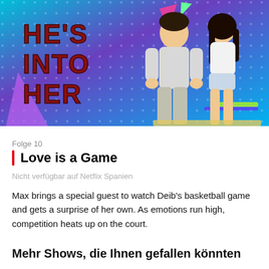[Figure (photo): Promotional image for 'He's Into Her' TV show. Two young people (a boy and a girl) posed against a colorful blue and purple dotted background. The show title 'HE'S INTO HER' is displayed in large bold dark red letters on the left side.]
Folge 10
Love is a Game
Nicht verfügbar auf Netflix Spanien
Max brings a special guest to watch Deib's basketball game and gets a surprise of her own. As emotions run high, competition heats up on the court.
Mehr Shows, die Ihnen gefallen könnten